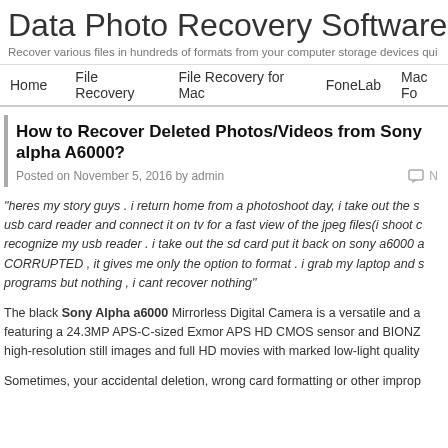Data Photo Recovery Software
Recover various files in hundreds of formats from your computer storage devices qui...
Home | File Recovery | File Recovery for Mac | FoneLab | Mac Fo...
How to Recover Deleted Photos/Videos from Sony alpha A6000?
Posted on November 5, 2016 by admin
“heres my story guys . i return home from a photoshoot day, i take out the s... usb card reader and connect it on tv for a fast view of the jpeg files(i shoot c... recognize my usb reader . i take out the sd card put it back on sony a6000 a... CORRUPTED , it gives me only the option to format . i grab my laptop and s... programs but nothing , i cant recover nothing”
The black Sony Alpha a6000 Mirrorless Digital Camera is a versatile and a... featuring a 24.3MP APS-C-sized Exmor APS HD CMOS sensor and BIONZ... high-resolution still images and full HD movies with marked low-light quality...
Sometimes, your accidental deletion, wrong card formatting or other improp...